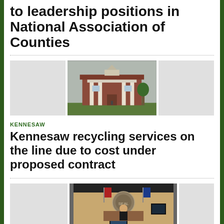to leadership positions in National Association of Counties
[Figure (photo): Three-panel image row: left gray placeholder, center photo of a red brick colonial building with white columns (county courthouse), right gray placeholder]
KENNESAW
Kennesaw recycling services on the line due to cost under proposed contract
[Figure (photo): Three-panel image row: left gray placeholder, center photo of a courtroom scene with judge, attorneys, and monitor displaying video, right gray placeholder cropped]
CRIME